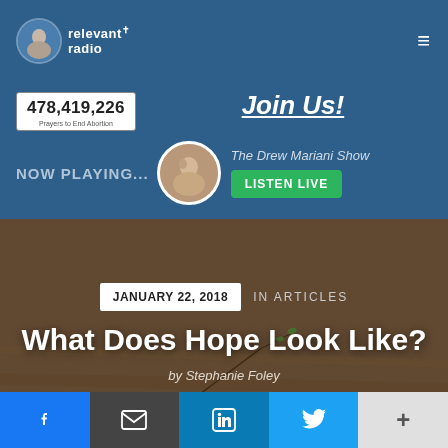[Figure (screenshot): Relevant Radio website navigation bar with logo, circular profile image, and hamburger menu icon on dark blue background]
[Figure (screenshot): Banner section with prayer counter showing 478,419,226 Prayers to End Abortion, Join Us! call to action, NOW PLAYING section with The Drew Mariani Show and LISTEN LIVE green button]
478,419,226
Prayers to End Abortion
Join Us!
NOW PLAYING...
The Drew Mariani Show
LISTEN LIVE
JANUARY 22, 2018
IN ARTICLES
What Does Hope Look Like?
by Stephanie Foley
[Figure (screenshot): Social sharing bar with Facebook, Email, LinkedIn, Twitter, and more (+) buttons]